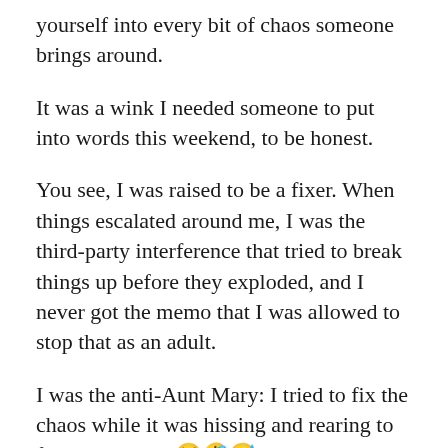yourself into every bit of chaos someone brings around.
It was a wink I needed someone to put into words this weekend, to be honest.
You see, I was raised to be a fixer. When things escalated around me, I was the third-party interference that tried to break things up before they exploded, and I never got the memo that I was allowed to stop that as an adult.
I was the anti-Aunt Mary: I tried to fix the chaos while it was hissing and rearing to fight, which … 😂🤣😅 yeah, take it from me, is no